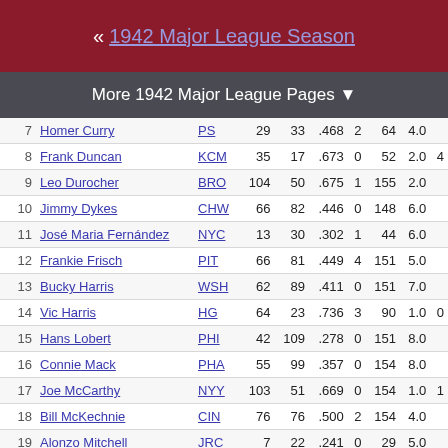« 1942 Major League Season
More 1942 Major League Pages ▼
| # | Name | Tm | W | L | W-L% | Pen | G | Finish |  |
| --- | --- | --- | --- | --- | --- | --- | --- | --- | --- |
| 7 | Homer Curry | PS | 29 | 33 | .468 | 2 | 64 | 4.0 |  |
| 8 | Frank Duncan | KCM | 35 | 17 | .673 | 0 | 52 | 2.0 | 4 |
| 9 | Leo Durocher | BRO | 104 | 50 | .675 | 1 | 155 | 2.0 |  |
| 10 | Jimmy Dykes | CHW | 66 | 82 | .446 | 0 | 148 | 6.0 |  |
| 11 | José Maria Fernández | NYC | 13 | 30 | .302 | 1 | 44 | 6.0 |  |
| 12 | Frankie Frisch | PIT | 66 | 81 | .449 | 4 | 151 | 5.0 |  |
| 13 | Bucky Harris | WSH | 62 | 89 | .411 | 0 | 151 | 7.0 |  |
| 14 | Vic Harris | HG | 64 | 23 | .736 | 3 | 90 | 1.0 | 0 |
| 15 | Hans Lobert | PHI | 42 | 109 | .278 | 0 | 151 | 8.0 |  |
| 16 | Connie Mack | PHA | 55 | 99 | .357 | 0 | 154 | 8.0 |  |
| 17 | Joe McCarthy | NYY | 103 | 51 | .669 | 0 | 154 | 1.0 | 1 |
| 18 | Bill McKechnie | CIN | 76 | 76 | .500 | 2 | 154 | 4.0 |  |
| 19 | Alonzo Mitchell | JRC | 7 | 22 | .241 | 0 | 29 | 5.0 |  |
| 20 | Mel Ott | NYG | 85 | 67 | .559 | 2 | 154 | 3.0 |  |
| 21 | Luke Sewell | SLB | 82 | 69 | .543 | 0 | 151 | 3.0 |  |
| 22 | Falton Snow | RFC | 38 | 29 | .567 | 0 | 67 | 2.0 |  |